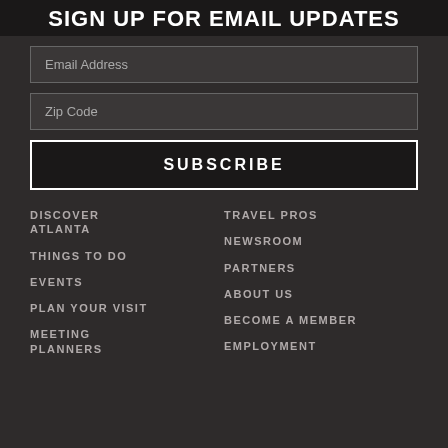SIGN UP FOR EMAIL UPDATES
Email Address
Zip Code
SUBSCRIBE
DISCOVER ATLANTA
THINGS TO DO
EVENTS
PLAN YOUR VISIT
MEETING PLANNERS
TRAVEL PROS
NEWSROOM
PARTNERS
ABOUT US
BECOME A MEMBER
EMPLOYMENT